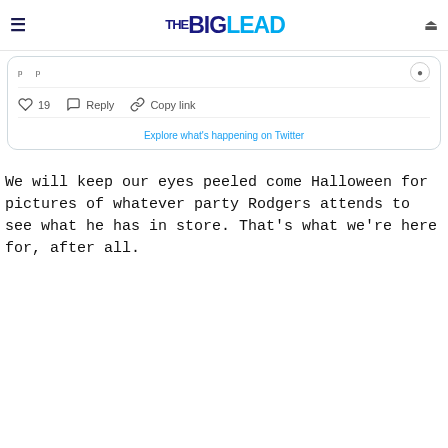THE BIG LEAD
[Figure (screenshot): Twitter/X embed widget showing tweet interaction buttons: heart icon with 19 likes, Reply button, Copy link button, and 'Explore what's happening on Twitter' link]
We will keep our eyes peeled come Halloween for pictures of whatever party Rodgers attends to see what he has in store. That's what we're here for, after all.